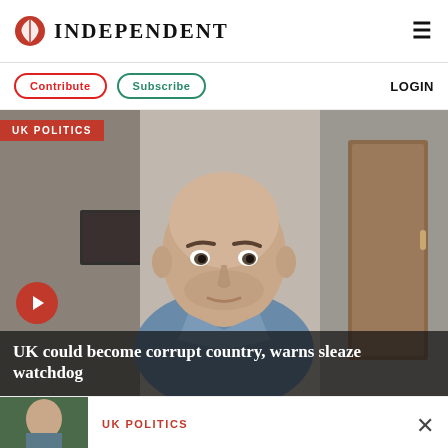INDEPENDENT
Contribute  Subscribe  LOGIN
[Figure (screenshot): Video thumbnail showing a bald middle-aged man in a blue shirt against an indoor background with a door, with a red play button overlay and the text 'UK could become corrupt country, warns sleaze watchdog'. A red badge in the top-left reads 'UK POLITICS'.]
UK POLITICS
UK could become corrupt country, warns sleaze watchdog
UK POLITICS